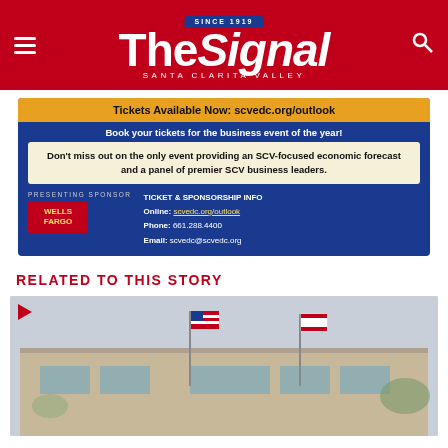The Signal — Santa Clarita Valley
[Figure (infographic): Advertisement banner for SCV Economic Development Corporation Outlook event. Dark blue background with gold ticket bar reading 'Tickets Available Now: scvedc.org/outlook'. Text: 'Book your tickets for the business event of the year!' Box: 'Don't miss out on the only event providing an SCV-focused economic forecast and a panel of premier SCV business leaders.' Presenting Sponsor: Wells Fargo. Ticket & Sponsorship Info: Online: scvedc.org/outlook, Phone: 661.288.4400, Email: scvedc@scvedc.org]
RELATED TO THIS STORY
[Figure (photo): Outdoor photo showing a building with American flag and California state flag on flagpoles in front, overcast sky]